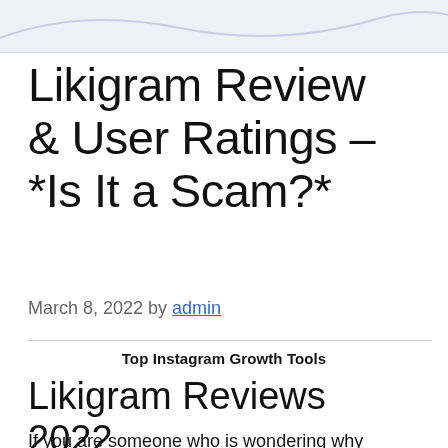[Figure (illustration): Top navigation/header graphic area with light blue-grey background and curved decorative line]
Likigram Review & User Ratings – *Is It a Scam?*
March 8, 2022 by admin
Top Instagram Growth Tools
Likigram Reviews 2022
If you are someone who is wondering why